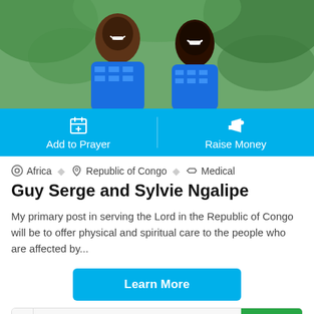[Figure (photo): Photo of Guy Serge and Sylvie Ngalipe, a couple smiling outdoors. The man is wearing a blue patterned shirt and the woman is wearing a blue patterned dress. Green foliage in background.]
Add to Prayer
Raise Money
Africa  Republic of Congo  Medical
Guy Serge and Sylvie Ngalipe
My primary post in serving the Lord in the Republic of Congo will be to offer physical and spiritual care to the people who are affected by...
Learn More
$ Amount Give